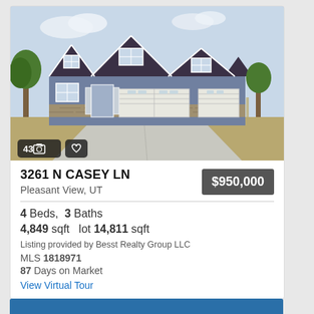[Figure (photo): Exterior photo of a large two-story craftsman-style home with blue-gray siding, stone accents, three-car garage, wide driveway. Photo counter badge shows 43 photos.]
3261 N CASEY LN
Pleasant View, UT
$950,000
4 Beds,  3 Baths
4,849 sqft   lot 14,811 sqft
Listing provided by Besst Realty Group LLC
MLS 1818971
87 Days on Market
View Virtual Tour